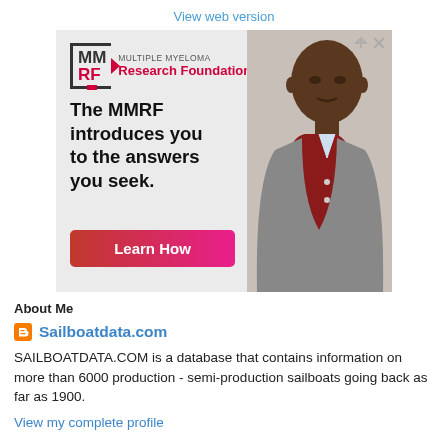View web version
[Figure (other): MMRF (Multiple Myeloma Research Foundation) advertisement showing logo, headline 'The MMRF introduces you to the answers you seek.', a 'Learn How' button, and a photo of an elderly man.]
About Me
Sailboatdata.com
SAILBOATDATA.COM is a database that contains information on more than 6000 production - semi-production sailboats going back as far as 1900.
View my complete profile